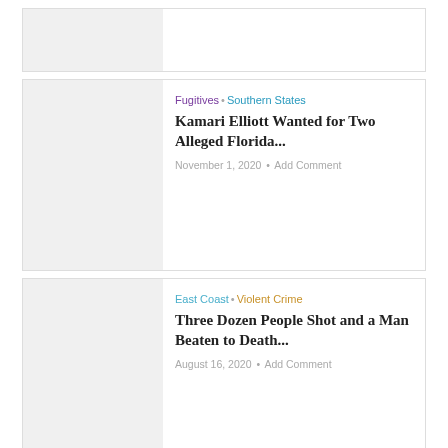[Figure (other): Top article card image placeholder (partial)]
Fugitives • Southern States
Kamari Elliott Wanted for Two Alleged Florida...
November 1, 2020 • Add Comment
[Figure (other): Second article card image placeholder]
East Coast • Violent Crime
Three Dozen People Shot and a Man Beaten to Death...
August 16, 2020 • Add Comment
Fugitives • Nationwide